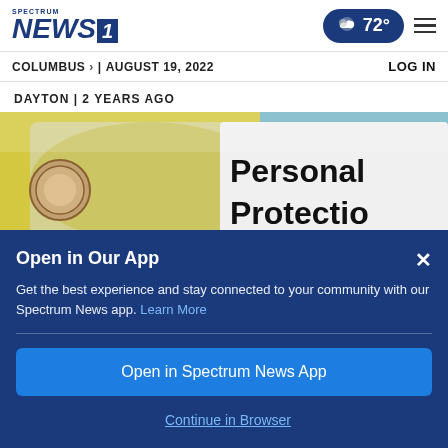Spectrum NEWS1 | 72° | [hamburger menu]
COLUMBUS > | AUGUST 19, 2022    LOG IN
DAYTON | 2 YEARS AGO
[Figure (photo): Photo of plastic-wrapped PPE items, showing yellow and blue packaging and a label reading 'Personal Protectio[n]']
Open in Our App
Get the best experience and stay connected to your community with our Spectrum News app. Learn More
Open in Spectrum News App
Continue in Browser